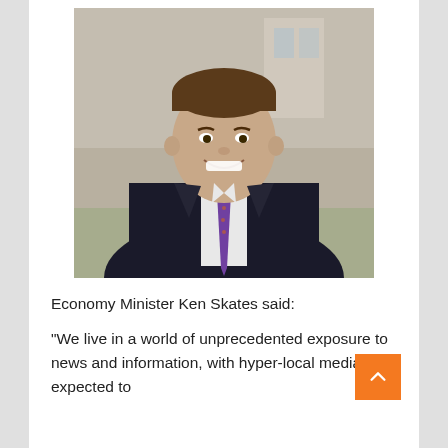[Figure (photo): Portrait photo of Economy Minister Ken Skates — a smiling man in a dark suit with a purple polka-dot tie, photographed outdoors in front of a stone building.]
Economy Minister Ken Skates said:
“We live in a world of unprecedented exposure to news and information, with hyper-local media expected to